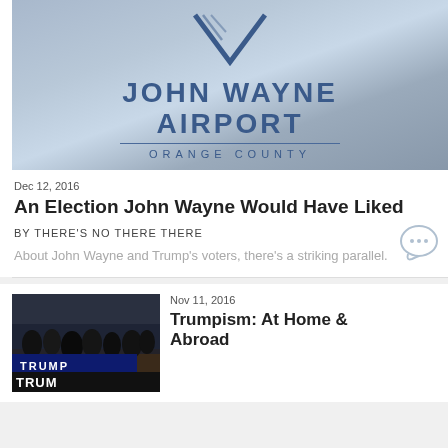[Figure (logo): John Wayne Airport Orange County logo on blue-gray gradient background]
Dec 12, 2016
An Election John Wayne Would Have Liked
BY THERE'S NO THERE THERE
About John Wayne and Trump's voters, there's a striking parallel.
[Figure (photo): Crowd of people at a Trump rally holding Trump signs]
Nov 11, 2016
Trumpism: At Home & Abroad